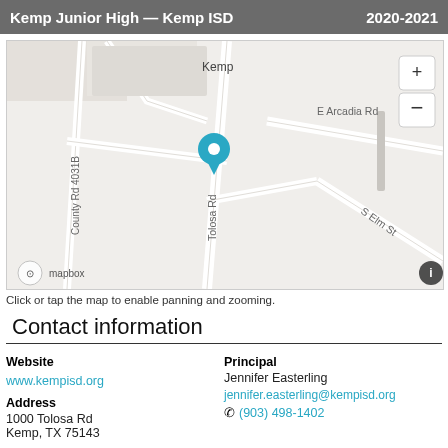Kemp Junior High — Kemp ISD  2020-2021
[Figure (map): Map showing location of Kemp Junior High School at 1000 Tolosa Rd, Kemp TX. Map shows streets including E Arcadia Rd, S Elm St, Tolosa Rd, and County Rd 4031B. A teal map pin marks the school location. Zoom controls (+/-) are in the upper right. Mapbox attribution and info button in the lower corners.]
Click or tap the map to enable panning and zooming.
Contact information
Website
www.kempisd.org
Address
1000 Tolosa Rd
Kemp, TX 75143
Principal
Jennifer Easterling
jennifer.easterling@kempisd.org
(903) 498-1402